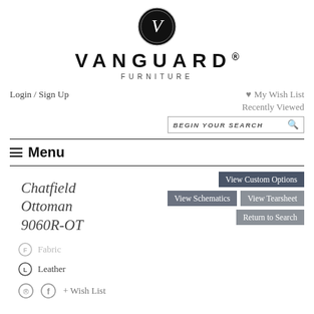[Figure (logo): Vanguard Furniture circular logo with stylized V on dark background]
VANGUARD®
FURNITURE
Login / Sign Up
♥ My Wish List
Recently Viewed
BEGIN YOUR SEARCH
≡ Menu
Chatfield Ottoman 9060R-OT
View Custom Options
View Schematics
View Tearsheet
Return to Search
F  Fabric
L  Leather
+ Wish List